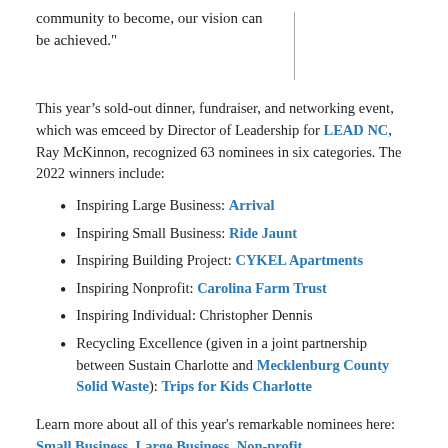community to become, our vision can be achieved."
This year’s sold-out dinner, fundraiser, and networking event, which was emceed by Director of Leadership for LEAD NC, Ray McKinnon, recognized 63 nominees in six categories. The 2022 winners include:
Inspiring Large Business: Arrival
Inspiring Small Business: Ride Jaunt
Inspiring Building Project: CYKEL Apartments
Inspiring Nonprofit: Carolina Farm Trust
Inspiring Individual: Christopher Dennis
Recycling Excellence (given in a joint partnership between Sustain Charlotte and Mecklenburg County Solid Waste): Trips for Kids Charlotte
Learn more about all of this year's remarkable nominees here: Small Business, Large Business, Non-profit,